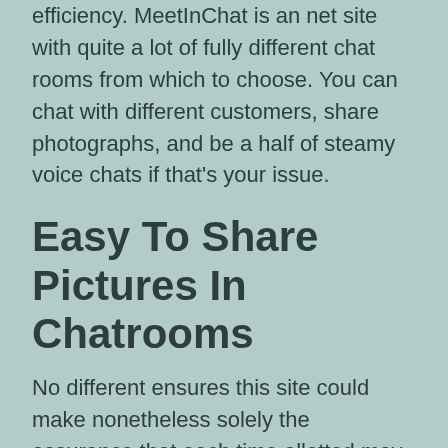efficiency. MeetInChat is an net site with quite a lot of fully different chat rooms from which to choose. You can chat with different customers, share photographs, and be a half of steamy voice chats if that's your issue.
Easy To Share Pictures In Chatrooms
No different ensures this site could make nonetheless solely the assurance that each time allotted may be worthwhile and intensely satisfying. Jerkmate is a one of a kind live intercourse cam website online that can tackle